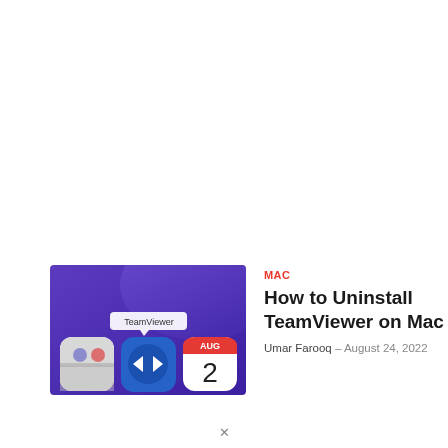[Figure (screenshot): Thumbnail image showing Mac app icons on a purple background. Visible icons include the TeamViewer app (blue icon with white arrows) with a tooltip bubble reading 'TeamViewer', a calendar icon showing 'AUG' and the number '2', and a white/grey icon on the left. The background is a deep purple/indigo gradient.]
MAC
How to Uninstall TeamViewer on Mac
Umar Farooq – August 24, 2022